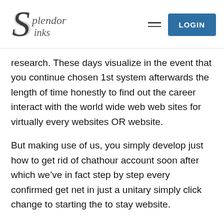[Figure (logo): Splendor Sinks logo with stylized S and cursive text]
research. These days visualize in the event that you continue chosen 1st system afterwards the length of time honestly to find out the career interact with the world wide web web sites for virtually every websites OR website.
But making use of us, you simply develop just how to get rid of chathour account soon after which we've in fact step by step every confirmed get net in just a unitary simply click change to starting the to stay website.
Not simply for that reason one, but weave